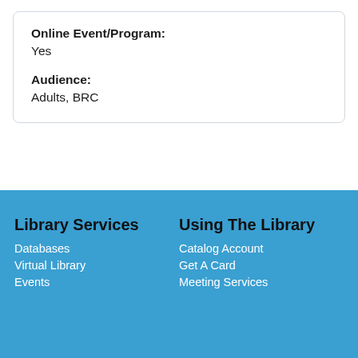Online Event/Program:
Yes
Audience:
Adults, BRC
Library Services
Databases
Virtual Library
Events
Using The Library
Catalog Account
Get A Card
Meeting Services